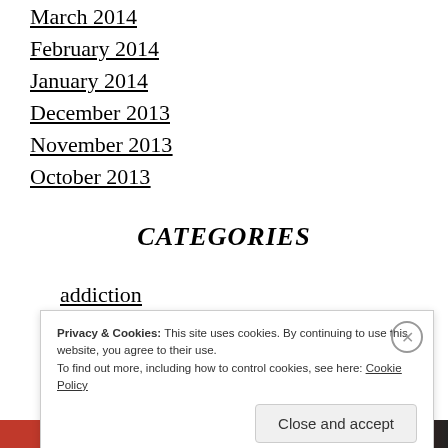March 2014
February 2014
January 2014
December 2013
November 2013
October 2013
CATEGORIES
addiction
Privacy & Cookies: This site uses cookies. By continuing to use this website, you agree to their use.
To find out more, including how to control cookies, see here: Cookie Policy
Close and accept